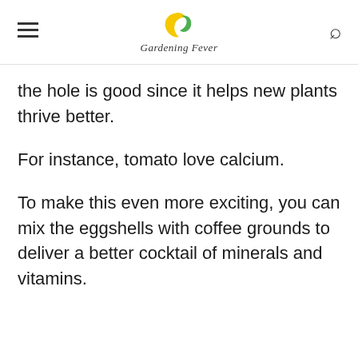Gardening Fever
the hole is good since it helps new plants thrive better.
For instance, tomato love calcium.
To make this even more exciting, you can mix the eggshells with coffee grounds to deliver a better cocktail of minerals and vitamins.